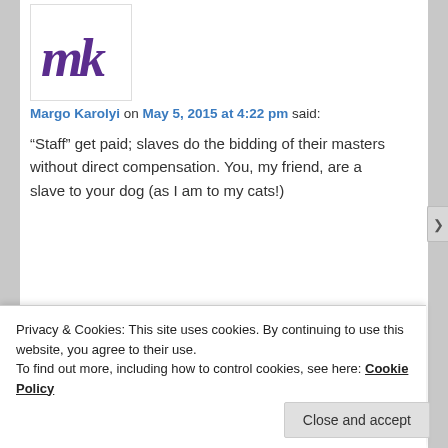[Figure (logo): MK logo in purple italic script handwriting style]
Margo Karolyi on May 5, 2015 at 4:22 pm said:
“Staff” get paid; slaves do the bidding of their masters without direct compensation. You, my friend, are a slave to your dog (as I am to my cats!)
Reply ↓
[Figure (photo): Avatar of Curmudgeon-at-Large, a Muppet-like puppet character with grey fur and grumpy expression]
Curmudgeon-at-Large on May 5, 2015 at 5:22 pm said:
Privacy & Cookies: This site uses cookies. By continuing to use this website, you agree to their use.
To find out more, including how to control cookies, see here: Cookie Policy